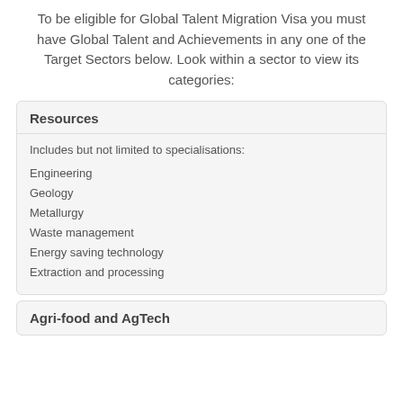To be eligible for Global Talent Migration Visa you must have Global Talent and Achievements in any one of the Target Sectors below. Look within a sector to view its categories:
Resources
Includes but not limited to specialisations:
Engineering
Geology
Metallurgy
Waste management
Energy saving technology
Extraction and processing
Agri-food and AgTech